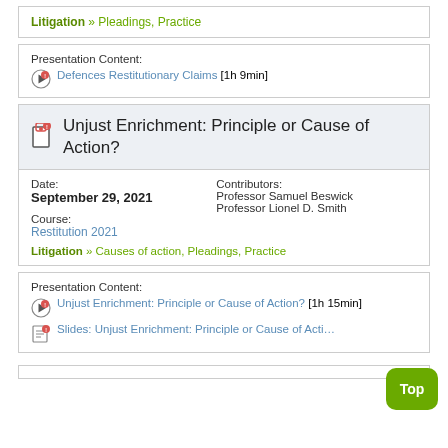Litigation » Pleadings, Practice
Presentation Content: Defences Restitutionary Claims [1h 9min]
Unjust Enrichment: Principle or Cause of Action?
Date: September 29, 2021
Course: Restitution 2021
Contributors: Professor Samuel Beswick Professor Lionel D. Smith
Litigation » Causes of action, Pleadings, Practice
Presentation Content: Unjust Enrichment: Principle or Cause of Action? [1h 15min] Slides: Unjust Enrichment: Principle or Cause of Acti…